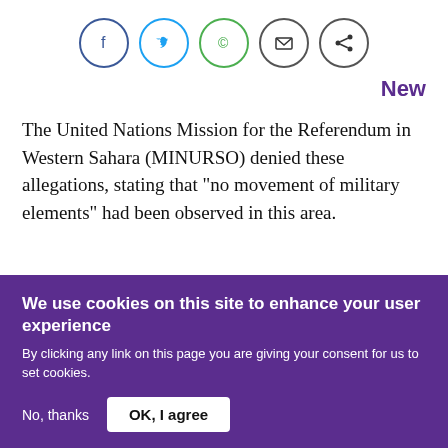[Figure (other): Social media sharing icons: Facebook (blue circle), Twitter (blue circle), WhatsApp (green circle), Email (dark circle), Share (dark circle)]
New
The United Nations Mission for the Referendum in Western Sahara (MINURSO) denied these allegations, stating that "no movement of military elements" had been observed in this area.
We use cookies on this site to enhance your user experience
By clicking any link on this page you are giving your consent for us to set cookies.
No, thanks
OK, I agree